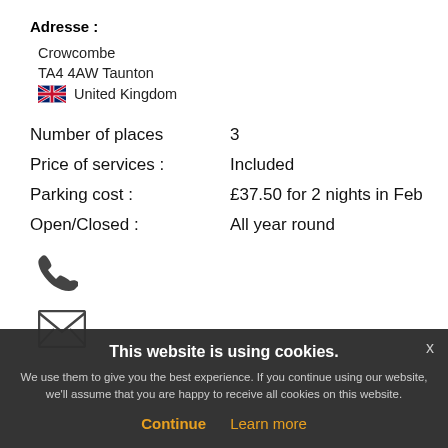Adresse :
Crowcombe
TA4 4AW Taunton
🇬🇧 United Kingdom
Number of places    3
Price of services :    Included
Parking cost :    £37.50 for 2 nights in Feb
Open/Closed :    All year round
[Figure (illustration): Phone icon (telephone handset silhouette)]
[Figure (illustration): Email/envelope icon]
This website is using cookies.
We use them to give you the best experience. If you continue using our website, we'll assume that you are happy to receive all cookies on this website.
Continue  Learn more